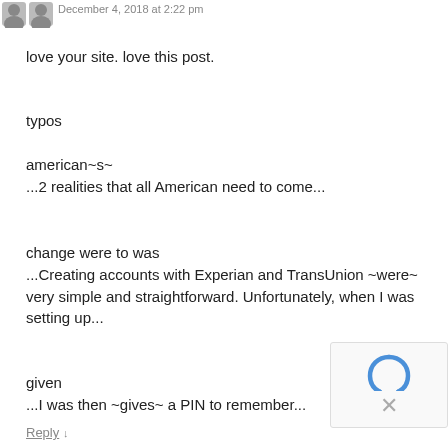December 4, 2018 at 2:22 pm
love your site. love this post.
typos
american~s~
...2 realities that all American need to come...
change were to was
...Creating accounts with Experian and TransUnion ~were~ very simple and straightforward. Unfortunately, when I was setting up...
given
...I was then ~gives~ a PIN to remember...
Reply ↓